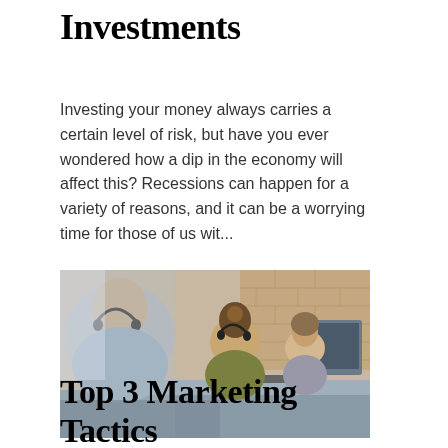Investments
Investing your money always carries a certain level of risk, but have you ever wondered how a dip in the economy will affect this? Recessions can happen for a variety of reasons, and it can be a worrying time for those of us wit...
[Figure (photo): Office workers wearing headsets at computers, working in a call center or open-plan office environment with a brick wall in the background.]
Top 3 Marketing Tactics